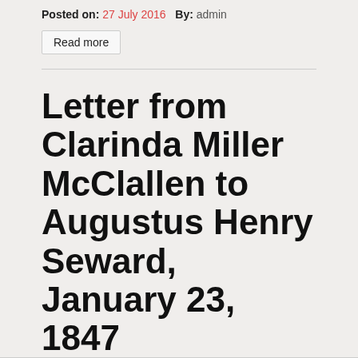Posted on: 27 July 2016   By: admin
Read more
Letter from Clarinda Miller McClallen to Augustus Henry Seward, January 23, 1847
Posted on: 27 July 2016   By: admin
Read more